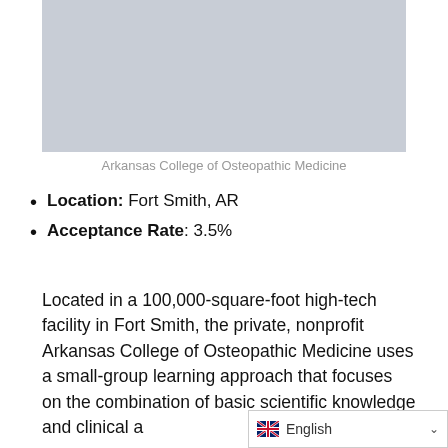[Figure (photo): Placeholder image for Arkansas College of Osteopathic Medicine — light gray rectangle]
Arkansas College of Osteopathic Medicine
Location: Fort Smith, AR
Acceptance Rate: 3.5%
Located in a 100,000-square-foot high-tech facility in Fort Smith, the private, nonprofit Arkansas College of Osteopathic Medicine uses a small-group learning approach that focuses on the combination of basic scientific knowledge and clinical a…